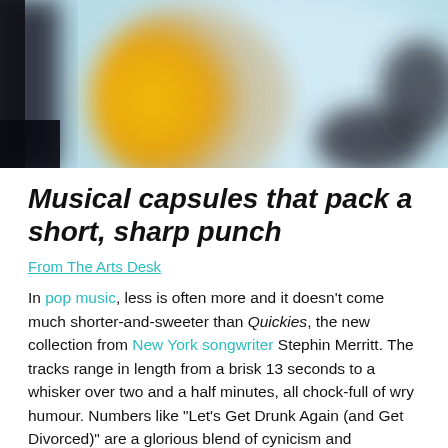[Figure (photo): Abstract blurred image with yellow/orange shape on left, light blue in center, dark elements on sides — appears to be a music album cover or artistic photograph]
Musical capsules that pack a short, sharp punch
From The Arts Desk
In pop music, less is often more and it doesn't come much shorter-and-sweeter than Quickies, the new collection from New York songwriter Stephin Merritt. The tracks range in length from a brisk 13 seconds to a whisker over two and a half minutes, all chock-full of wry humour. Numbers like "Let's Get Drunk Again (and Get Divorced)" are a glorious blend of cynicism and